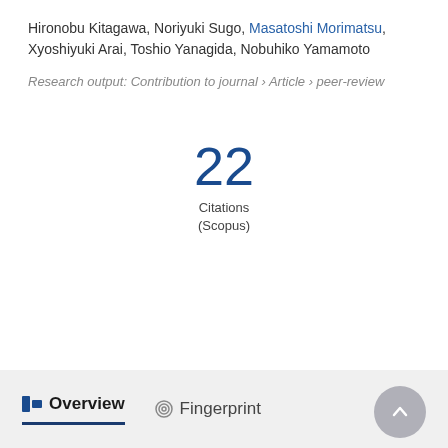Hironobu Kitagawa, Noriyuki Sugo, Masatoshi Morimatsu, Xyoshiyuki Arai, Toshio Yanagida, Nobuhiko Yamamoto
Research output: Contribution to journal › Article › peer-review
22 Citations (Scopus)
Overview   Fingerprint